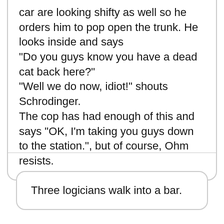car are looking shifty as well so he orders him to pop open the trunk. He looks inside and says
"Do you guys know you have a dead cat back here?"
"Well we do now, idiot!" shouts Schrodinger.
The cop has had enough of this and says "OK, I'm taking you guys down to the station.", but of course, Ohm resists.
Three logicians walk into a bar.